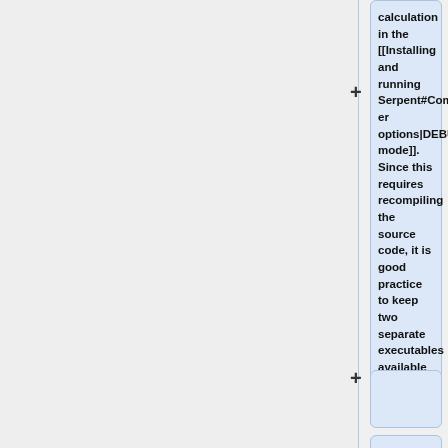calculation in the [[Installing and running Serpent#Compiler options|DEBUG mode]]. Since this requires recompiling the source code, it is good practice to keep two separate executables available at all times.
The DEBUG mode switches on several pointer and